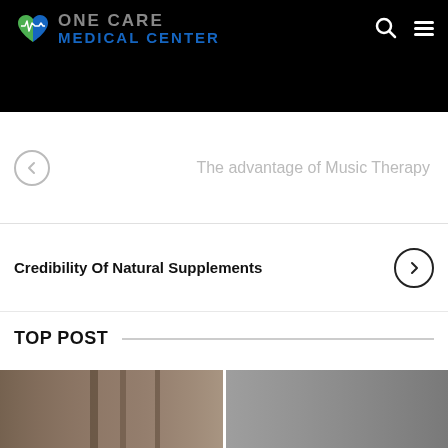[Figure (logo): One Care Medical Center logo with heart icon on black header background]
The advantage of Music Therapy
Credibility Of Natural Supplements
TOP POST
[Figure (photo): Bottom image strip showing two side-by-side photos partially visible]